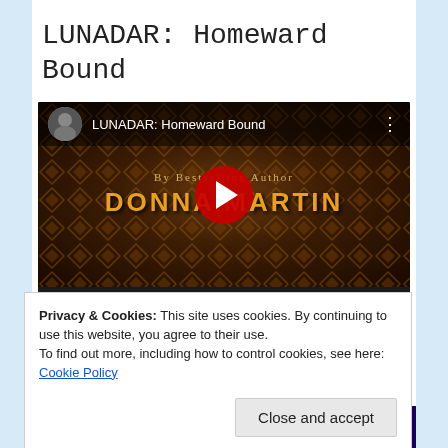LUNADAR: Homeward Bound
[Figure (screenshot): YouTube video embed showing 'LUNADAR: Homeward Bound' by Bestselling Author Donna Martin. Video player with play button, timestamp 00:00 / 00:44, and fullscreen control.]
Privacy & Cookies: This site uses cookies. By continuing to use this website, you agree to their use.
To find out more, including how to control cookies, see here:
Cookie Policy
Close and accept